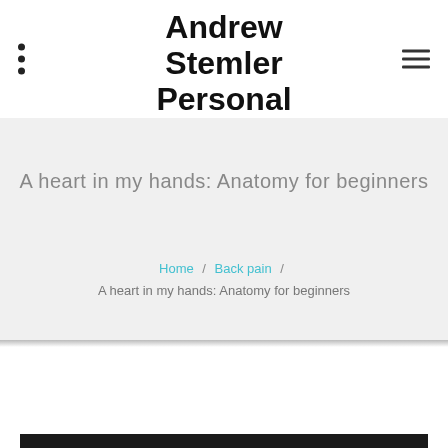Andrew Stemler Personal Trainer
Personal training In Stratford & Forest Gate
A heart in my hands: Anatomy for beginners
Home / Back pain / A heart in my hands: Anatomy for beginners